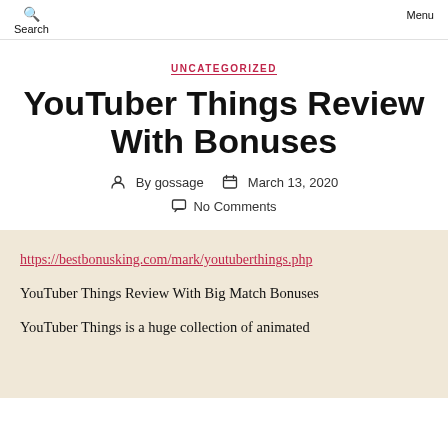Search  Menu
UNCATEGORIZED
YouTuber Things Review With Bonuses
By gossage   March 13, 2020
No Comments
https://bestbonusking.com/mark/youtuberthings.php
YouTuber Things Review With Big Match Bonuses

YouTuber Things is a huge collection of animated